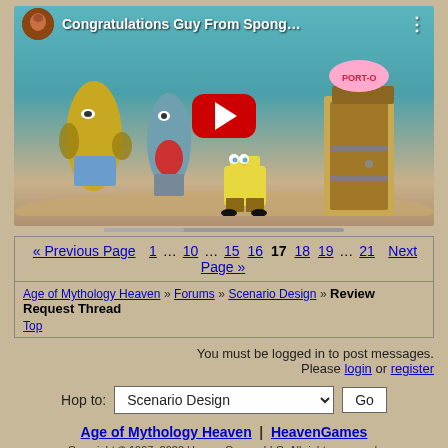[Figure (screenshot): YouTube video thumbnail showing SpongeBob SquarePants characters with title 'Congratulations Guy From Spong...' with red play button overlay]
« Previous Page  1 … 10 … 15  16  17  18  19 … 21  Next Page »
Age of Mythology Heaven » Forums » Scenario Design » Review Request Thread
Top
You must be logged in to post messages.
Please login or register
Hop to: Scenario Design  Go
Age of Mythology Heaven | HeavenGames
Copyright © 1997–2022 HeavenGames LLC. All rights reserved.
v2.5.0